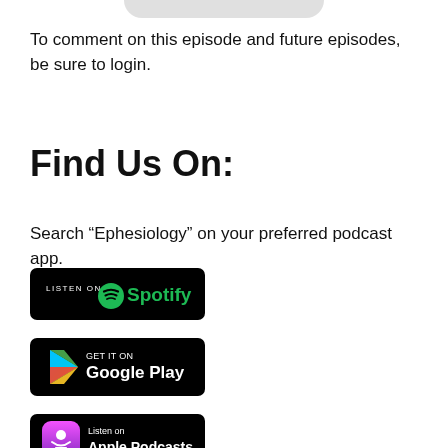To comment on this episode and future episodes, be sure to login.
Find Us On:
Search “Ephesiology” on your preferred podcast app.
[Figure (logo): Listen on Spotify badge — black rounded rectangle with Spotify logo and text]
[Figure (logo): Get it on Google Play badge — black rounded rectangle with Google Play triangle logo and text]
[Figure (logo): Listen on Apple Podcasts badge — black rounded rectangle with Apple Podcasts icon and text]